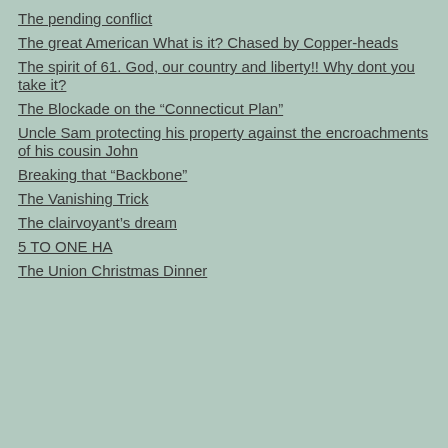The pending conflict
The great American What is it? Chased by Copper-heads
The spirit of 61. God, our country and liberty!! Why dont you take it?
The Blockade on the “Connecticut Plan”
Uncle Sam protecting his property against the encroachments of his cousin John
Breaking that “Backbone”
The Vanishing Trick
The clairvoyant’s dream
5 TO ONE HA
The Union Christmas Dinner